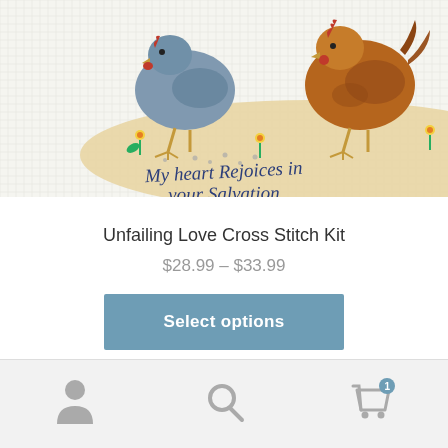[Figure (photo): Cross stitch embroidery kit showing two chickens (a blue-grey hen pecking at seeds and a brown hen) with flowers and the text 'My heart Rejoices in your Salvation' stitched on aida fabric]
Unfailing Love Cross Stitch Kit
$28.99 – $33.99
Select options